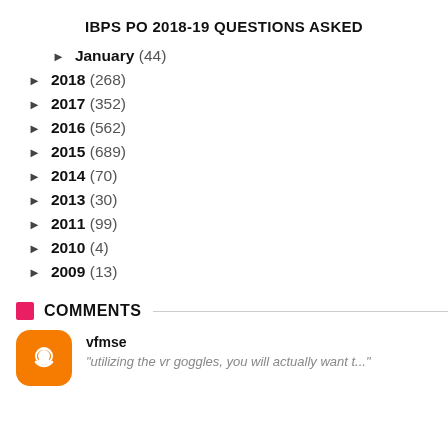IBPS PO 2018-19 QUESTIONS ASKED
► January (44)
► 2018 (268)
► 2017 (352)
► 2016 (562)
► 2015 (689)
► 2014 (70)
► 2013 (30)
► 2011 (99)
► 2010 (4)
► 2009 (13)
COMMENTS
vfmse — "utilizing the vr goggles, you will actually want t..."